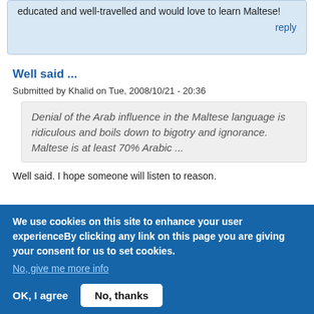educated and well-travelled and would love to learn Maltese!
reply
Well said ...
Submitted by Khalid on Tue, 2008/10/21 - 20:36
Denial of the Arab influence in the Maltese language is ridiculous and boils down to bigotry and ignorance. Maltese is at least 70% Arabic ...
Well said. I hope someone will listen to reason.
We use cookies on this site to enhance your user experienceBy clicking any link on this page you are giving your consent for us to set cookies.
No, give me more info
OK, I agree
No, thanks